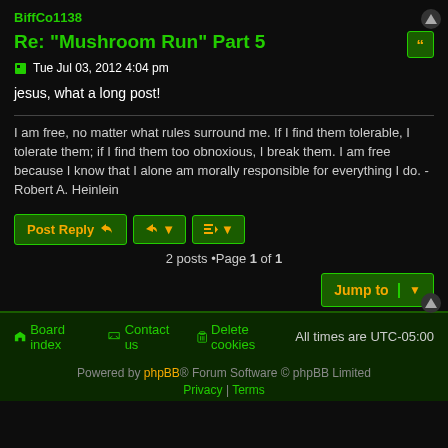BiffCo1138
Re: "Mushroom Run" Part 5
Tue Jul 03, 2012 4:04 pm
jesus, what a long post!
I am free, no matter what rules surround me. If I find them tolerable, I tolerate them; if I find them too obnoxious, I break them. I am free because I know that I alone am morally responsible for everything I do. -Robert A. Heinlein
2 posts •Page 1 of 1
Jump to
Board index   Contact us   Delete cookies   All times are UTC-05:00
Powered by phpBB® Forum Software © phpBB Limited
Privacy | Terms